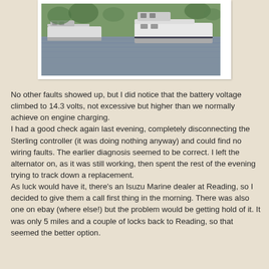[Figure (photo): Two white motorboats on a calm river or lake, with green grassy bank and trees visible in the background. The image is framed with a white border like a photograph.]
No other faults showed up, but I did notice that the battery voltage climbed to 14.3 volts, not excessive but higher than we normally achieve on engine charging.
I had a good check again last evening, completely disconnecting the Sterling controller (it was doing nothing anyway) and could find no wiring faults. The earlier diagnosis seemed to be correct. I left the alternator on, as it was still working, then spent the rest of the evening trying to track down a replacement.
As luck would have it, there's an Isuzu Marine dealer at Reading, so I decided to give them a call first thing in the morning. There was also one on ebay (where else!) but the problem would be getting hold of it. It was only 5 miles and a couple of locks back to Reading, so that seemed the better option.